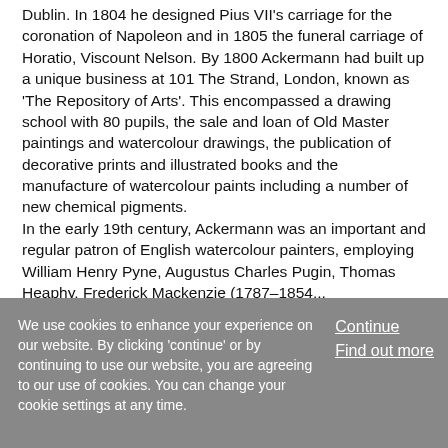Dublin. In 1804 he designed Pius VII's carriage for the coronation of Napoleon and in 1805 the funeral carriage of Horatio, Viscount Nelson. By 1800 Ackermann had built up a unique business at 101 The Strand, London, known as 'The Repository of Arts'. This encompassed a drawing school with 80 pupils, the sale and loan of Old Master paintings and watercolour drawings, the publication of decorative prints and illustrated books and the manufacture of watercolour paints including a number of new chemical pigments. In the early 19th century, Ackermann was an important and regular patron of English watercolour painters, employing William Henry Pyne, Augustus Charles Pugin, Thomas Heaphy, Frederick Mackenzie (1787–1854...
We use cookies to enhance your experience on our website. By clicking 'continue' or by continuing to use our website, you are agreeing to our use of cookies. You can change your cookie settings at any time.
Continue
Find out more